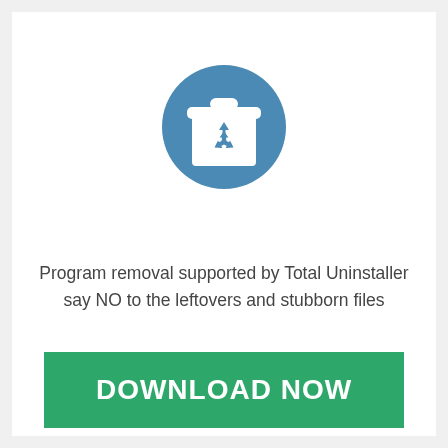[Figure (logo): A blue circular icon containing a trash bin with a recycling symbol on it, representing a program uninstaller tool.]
Program removal supported by Total Uninstaller say NO to the leftovers and stubborn files
DOWNLOAD NOW